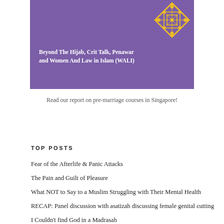[Figure (illustration): Purple banner with a yellow geometric/lattice snowflake-style logo in the top right corner and bold white text reading 'Beyond The Hijab, Crit Talk, Penawar and Women And Law in Islam (WALI)']
Read our report on pre-marriage courses in Singapore!
TOP POSTS
Fear of the Afterlife & Panic Attacks
The Pain and Guilt of Pleasure
What NOT to Say to a Muslim Struggling with Their Mental Health
RECAP: Panel discussion with asatizah discussing female genital cutting
I Couldn't find God in a Madrasah